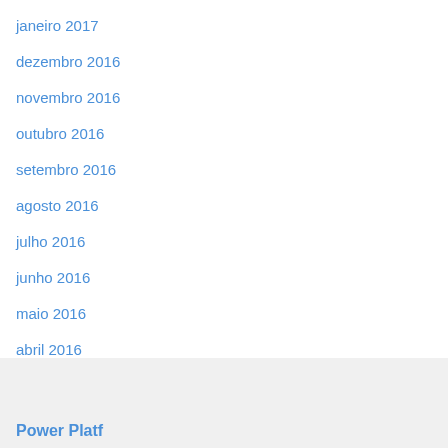janeiro 2017
dezembro 2016
novembro 2016
outubro 2016
setembro 2016
agosto 2016
julho 2016
junho 2016
maio 2016
abril 2016
Power Platf…